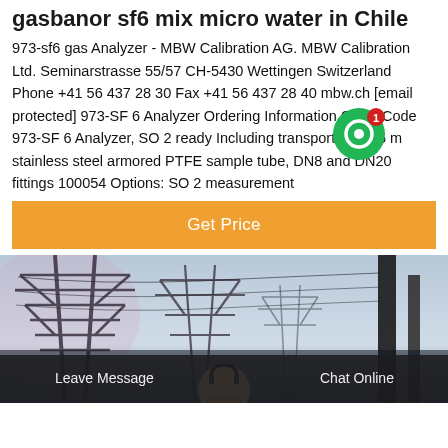gasbanor sf6 mix micro water in Chile
973-sf6 gas Analyzer - MBW Calibration AG. MBW Calibration Ltd. Seminarstrasse 55/57 CH-5430 Wettingen Switzerland Phone +41 56 437 28 30 Fax +41 56 437 28 40 mbw.ch [email protected] 973-SF 6 Analyzer Ordering Information Order Code 973-SF 6 Analyzer, SO 2 ready Including transport case, 6 m stainless steel armored PTFE sample tube, DN8 and DN20 fittings 100054 Options: SO 2 measurement
[Figure (screenshot): Orange 'Get Price' button with green chat bubble icon with red badge showing '1']
[Figure (photo): Industrial photo of electrical transmission towers/pylons with power lines against a sky background, with a customer service representative avatar at bottom center and a dark bottom bar with 'Leave Message' and 'Chat Online' options]